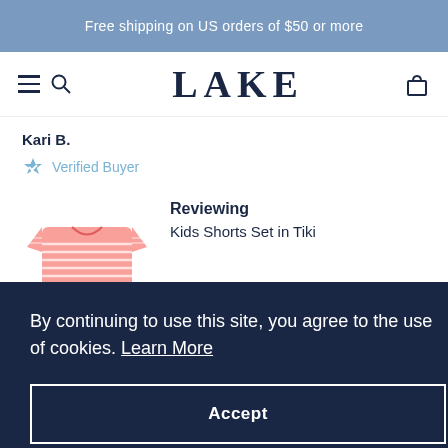Free shipping on US orders of $50 or more
LAKE
Kari B.
Verified Buyer
Reviewing
Kids Shorts Set in Tiki
By continuing to use this site, you agree to the use of cookies. Learn More
Accept
6 days ago